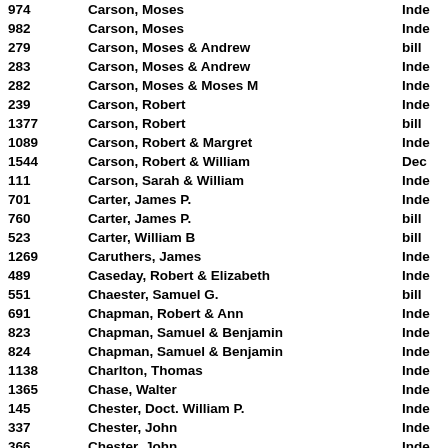| Number | Name | Type |
| --- | --- | --- |
| 974 | Carson, Moses | Inde |
| 982 | Carson, Moses | Inde |
| 279 | Carson, Moses & Andrew | bill |
| 283 | Carson, Moses & Andrew | Inde |
| 282 | Carson, Moses & Moses M | Inde |
| 239 | Carson, Robert | Inde |
| 1377 | Carson, Robert | bill |
| 1089 | Carson, Robert & Margret | Inde |
| 1544 | Carson, Robert & William | Dec |
| 111 | Carson, Sarah & William | Inde |
| 701 | Carter, James P. | Inde |
| 760 | Carter, James P. | bill |
| 523 | Carter, William B | bill |
| 1269 | Caruthers, James | Inde |
| 489 | Caseday, Robert & Elizabeth | Inde |
| 551 | Chaester, Samuel G. | bill |
| 691 | Chapman, Robert & Ann | Inde |
| 823 | Chapman, Samuel & Benjamin | Inde |
| 824 | Chapman, Samuel & Benjamin | Inde |
| 1138 | Charlton, Thomas | Inde |
| 1365 | Chase, Walter | Inde |
| 145 | Chester, Doct. William P. | Inde |
| 337 | Chester, John | Inde |
| 366 | Chester, John | Inde |
| 694 | Chester, John | Inde |
| 1319 | Chester, John | Inde |
| 1483 | Chester, John | Inde |
| 816 | Chester, John | Inde |
| 918 | Chester, John | Inde |
| 739 | Chester, John P. & John | Inde |
|  | Chester, Samuel C. |  |